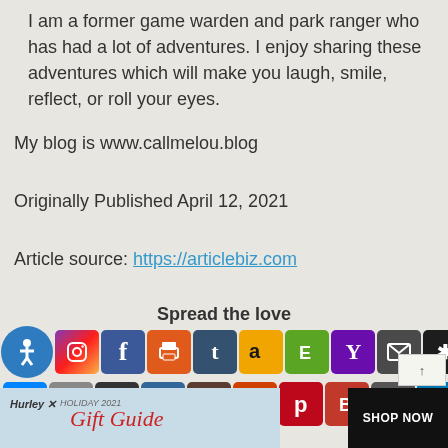I am a former game warden and park ranger who has had a lot of adventures. I enjoy sharing these adventures which will make you laugh, smile, reflect, or roll your eyes.
My blog is www.callmelou.blog
Originally Published April 12, 2021
Article source: https://articlebiz.com
Spread the love
[Figure (infographic): Row of social media share icons: accessibility, Instagram, Facebook, print, Tumblr, Amazon, Evernote, Yahoo, email, Digg; second row: Messenger, Google, Kboard, Myspace, Goodreads, Reddit, Pinterest, Blogger, print, LinkedIn; third row: Dev.to, share icon, then '0 Shares' count]
[Figure (photo): Hurley Holiday 2021 Gift Guide advertisement banner with red hoodie and SHOP NOW button]